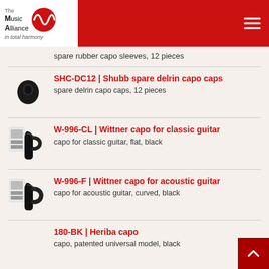The Music Alliance — in total harmony
spare rubber capo sleeves, 12 pieces
SHC-DC12 | Shubb spare delrin capo caps
spare delrin capo caps, 12 pieces
W-996-CL | Wittner capo for classic guitar
capo for classic guitar, flat, black
W-996-F | Wittner capo for acoustic guitar
capo for acoustic guitar, curved, black
180-BK | Heriba capo
capo, patented universal model, black